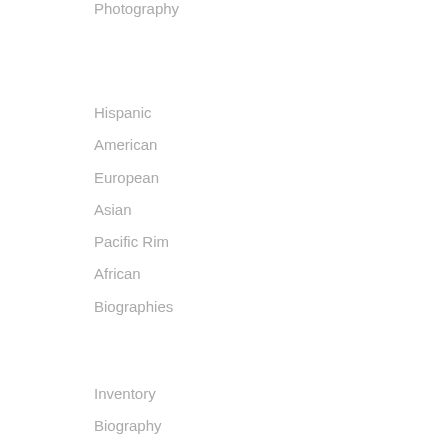Photography
Hispanic
American
European
Asian
Pacific Rim
African
Biographies
Inventory
Biography
Catalogue Raisonne
Facebook
Twitter
| Field | Value |
| --- | --- |
| Technique | color block pri |
| Image Size | 10 x 6 15/16" i |
| Signature | pencil lower rig |
| Edition Size | edition not state |
| Annotations | pencil dated an |
| Reference |  |
| Paper | antique-white l |
| State | published |
| Publisher | artist |
| Inventory ID | 20620 |
| Price | $600.00 |
| Description | Lawrence Patte Catholic mystic famous work a artistic works f case Brown v. B |